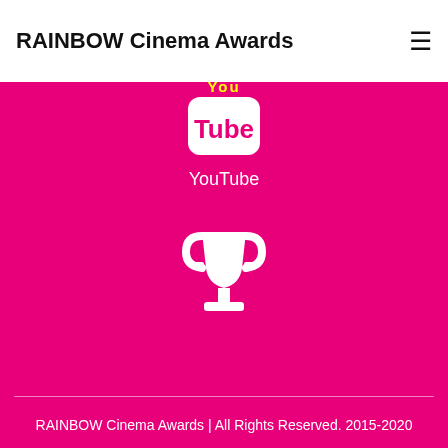RAINBOW Cinema Awards
[Figure (logo): YouTube logo icon with 'You' text above and 'Tube' in a rounded rectangle below]
YouTube
[Figure (illustration): White trophy/award cup icon on magenta background]
Festival Laurels
RAINBOW Cinema Awards | All Rights Reserved. 2015-2020